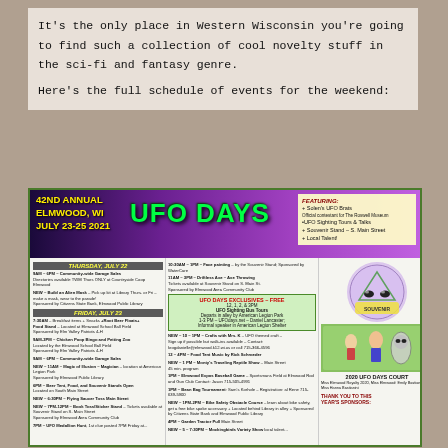It's the only place in Western Wisconsin you're going to find such a collection of cool novelty stuff in the sci-fi and fantasy genre.

Here's the full schedule of events for the weekend:
[Figure (infographic): 42nd Annual Elmwood WI UFO Days flyer, July 23-25 2021, with event schedule and sponsor information]